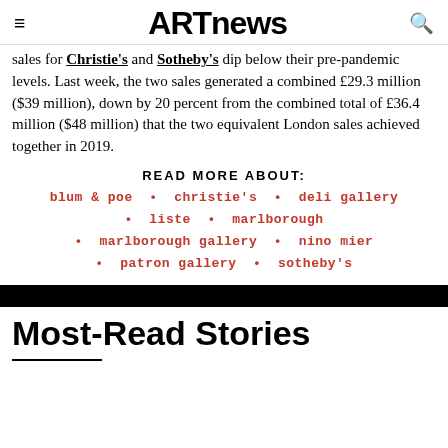ARTnews
sales for Christie's and Sotheby's dip below their pre-pandemic levels. Last week, the two sales generated a combined £29.3 million ($39 million), down by 20 percent from the combined total of £36.4 million ($48 million) that the two equivalent London sales achieved together in 2019.
READ MORE ABOUT:
blum & poe • christie's • deli gallery • liste • marlborough • marlborough gallery • nino mier • patron gallery • sotheby's
Most-Read Stories